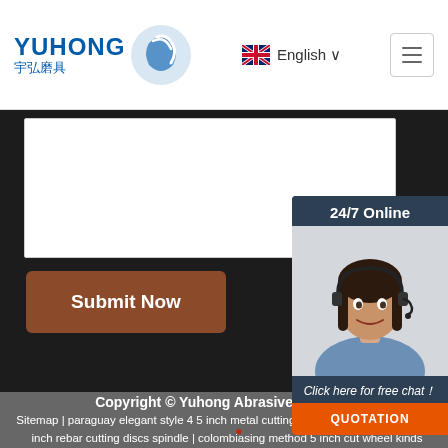YUHONG 宇弘磨具 | English
[Figure (screenshot): White form card area (partially visible contact form)]
[Figure (illustration): Submit Now button with brown/rust background]
[Figure (photo): 24/7 Online chat widget with photo of woman with headset, 'Click here for free chat!' text, and orange QUOTATION button]
Copyright © Yuhong Abrasive Co., Ltd. Sitemap | paraguay elegant style 4 5 inch metal cutting | malaysia good service 4 5 inch rebar cutting discs spindle | colombia sing method 5 inch cut wheel kinds metals miniature